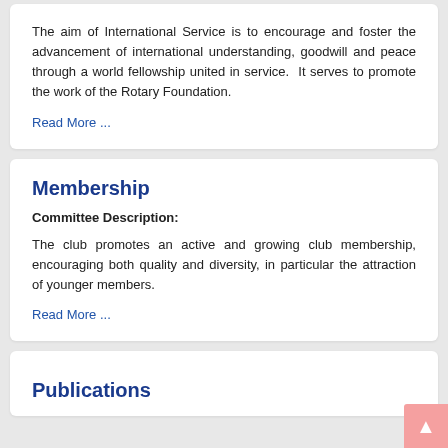The aim of International Service is to encourage and foster the advancement of international understanding, goodwill and peace through a world fellowship united in service.  It serves to promote the work of the Rotary Foundation.
Read More ...
Membership
Committee Description:
The club promotes an active and growing club membership, encouraging both quality and diversity, in particular the attraction of younger members.
Read More ...
Publications